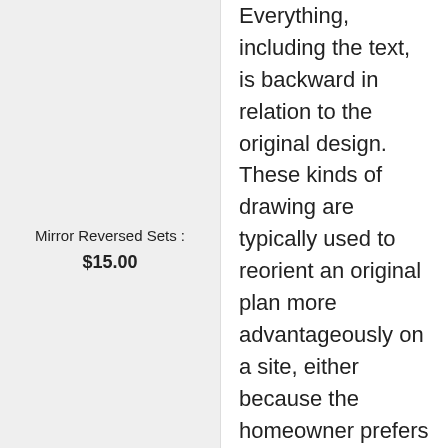Mirror Reversed Sets : $15.00
Everything, including the text, is backward in relation to the original design. These kinds of drawing are typically used to reorient an original plan more advantageously on a site, either because the homeowner prefers it that way or because of limitations of the site itself. Note: Mirror reverse sets are only available with a 5 copy or 8 copy set. With a Reproducible, PDF, or CAD set, you